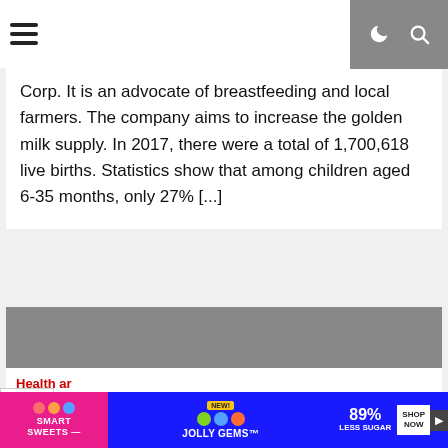Navigation bar with hamburger menu and search/dark-mode icons
Corp. It is an advocate of breastfeeding and local farmers. The company aims to increase the golden milk supply. In 2017, there were a total of 1,700,618 live births. Statistics show that among children aged 6-35 months, only 27% [...]
[Figure (photo): Gray image placeholder]
Health a...
Do you love the content? Please buy me a coffee!